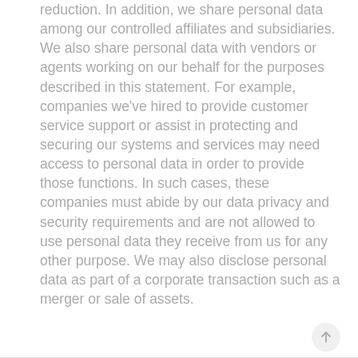reduction. In addition, we share personal data among our controlled affiliates and subsidiaries. We also share personal data with vendors or agents working on our behalf for the purposes described in this statement. For example, companies we've hired to provide customer service support or assist in protecting and securing our systems and services may need access to personal data in order to provide those functions. In such cases, these companies must abide by our data privacy and security requirements and are not allowed to use personal data they receive from us for any other purpose. We may also disclose personal data as part of a corporate transaction such as a merger or sale of assets.